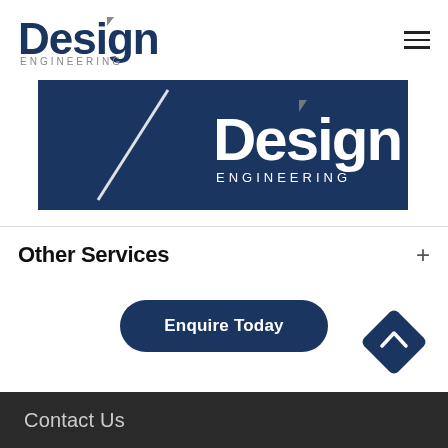[Figure (logo): Design Engineering logo in top-left header area, dark navy blue text with 'Design' large and 'ENGINEERING' smaller below]
[Figure (logo): Design Engineering banner with dark navy background, diagonal white line on left, and large 'Design ENGINEERING' white logo on right]
Other Services
Enquire Today
[Figure (other): Dark navy diamond-shaped back-to-top button with white chevron/caret pointing upward]
Contact Us